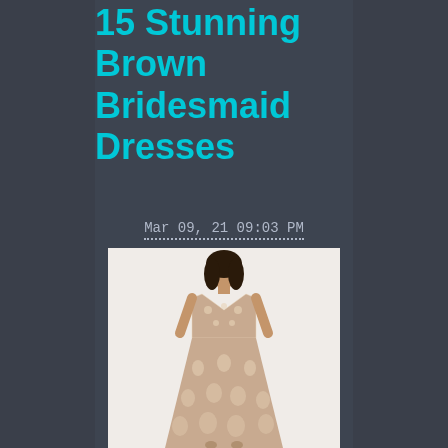15 Stunning Brown Bridesmaid Dresses
Mar 09, 21 09:03 PM
[Figure (photo): A woman wearing a full-length brown/taupe floral lace bridesmaid gown with a deep V-neckline, photographed against a white background.]
Shop for the perfect brown bridesmaid dresses for your wedding day. Find the perfect brown bridesmaid